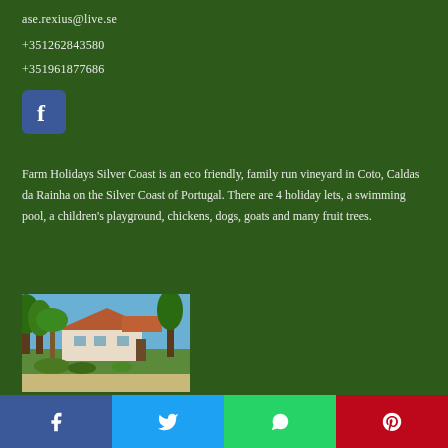ase.rexius@live.se
+351262843580
+351961877686
[Figure (logo): Facebook logo icon, blue rounded square with white letter f]
Farm Holidays Silver Coast is an eco friendly, family run vineyard in Coto, Caldas da Rainha on the Silver Coast of Portugal. There are 4 holiday lets, a swimming pool, a children's playground, chickens, dogs, goats and many fruit trees.
[Figure (photo): Photograph of a farmhouse with red tile roof surrounded by lush green trees and palm trees under a blue sky, with a dirt path in foreground]
[Figure (other): Social sharing bar with four buttons: Facebook (blue), Twitter (light blue), WhatsApp (green), Pinterest (red)]